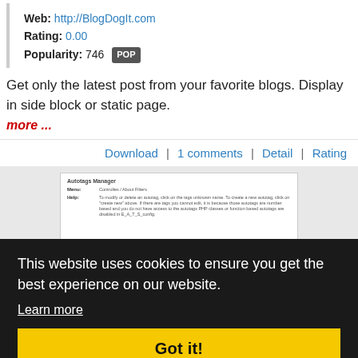Web: http://BlogDogIt.com
Rating: 0.00
Popularity: 746  POP
Get only the latest post from your favorite blogs. Display in side block or static page.
more ...
Download | 1 comments | Detail | Rating
[Figure (screenshot): Screenshot of Autotags Manager plugin interface showing a table with menu and help rows]
This website uses cookies to ensure you get the best experience on our website.
Learn more
Got it!
Autotags Plugin v1.2.1
Category: Addons ▶ Plugins
Date: 2017-06-22 11:00